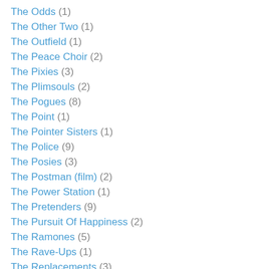The Odds (1)
The Other Two (1)
The Outfield (1)
The Peace Choir (2)
The Pixies (3)
The Plimsouls (2)
The Pogues (8)
The Point (1)
The Pointer Sisters (1)
The Police (9)
The Posies (3)
The Postman (film) (2)
The Power Station (1)
The Pretenders (9)
The Pursuit Of Happiness (2)
The Ramones (5)
The Rave-Ups (1)
The Replacements (3)
The Rock Lobsters (1)
The Scorpions (1)